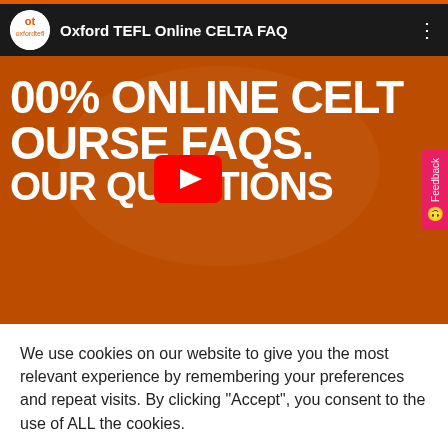[Figure (screenshot): YouTube video player header showing Oxford TEFL Online CELTA FAQ channel name with logo, and three-dot menu icon on dark background]
[Figure (screenshot): YouTube video thumbnail with orange background showing text '100% ONLINE CELTA COURSE FAQS. YOUR QUESTIONS' in large white bold font with a YouTube play button in the center. A pink Feedback tab is on the right edge.]
We use cookies on our website to give you the most relevant experience by remembering your preferences and repeat visits. By clicking “Accept”, you consent to the use of ALL the cookies.
Cookie settings | Accept